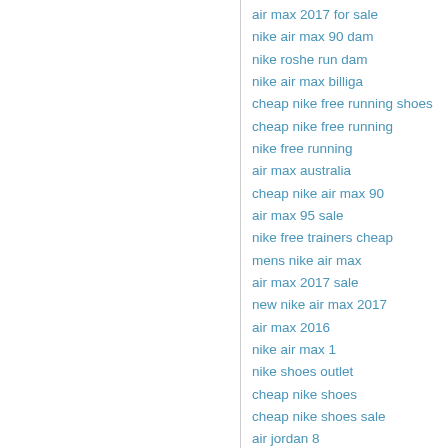air max 2017 for sale
nike air max 90 dam
nike roshe run dam
nike air max billiga
cheap nike free running shoes
cheap nike free running
nike free running
air max australia
cheap nike air max 90
air max 95 sale
nike free trainers cheap
mens nike air max
air max 2017 sale
new nike air max 2017
air max 2016
nike air max 1
nike shoes outlet
cheap nike shoes
cheap nike shoes sale
air jordan 8
air jordan 13 canada
air yeezy 2 australia
yeezy boost 350 black
yeezy boost 350 for sale
jordan retro 6